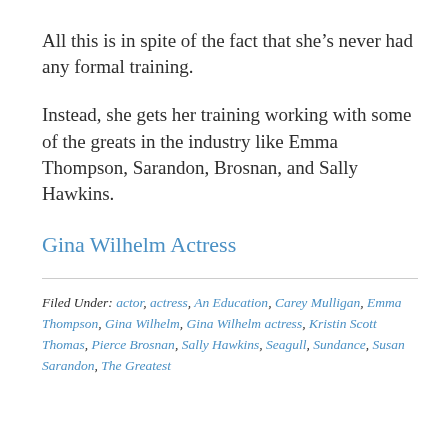All this is in spite of the fact that she's never had any formal training.
Instead, she gets her training working with some of the greats in the industry like Emma Thompson, Sarandon, Brosnan, and Sally Hawkins.
Gina Wilhelm Actress
Filed Under: actor, actress, An Education, Carey Mulligan, Emma Thompson, Gina Wilhelm, Gina Wilhelm actress, Kristin Scott Thomas, Pierce Brosnan, Sally Hawkins, Seagull, Sundance, Susan Sarandon, The Greatest